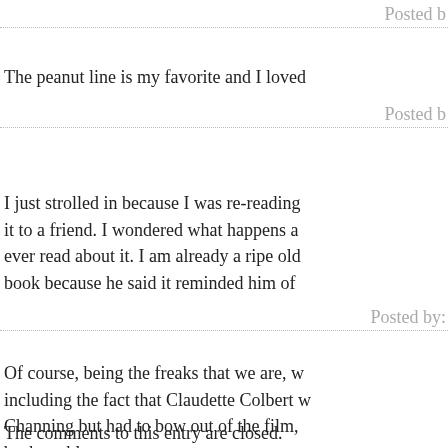Posted b
The peanut line is my favorite and I loved
Posted b
I just strolled in because I was re-reading it to a friend. I wondered what happens a ever read about it. I am already a ripe old book because he said it reminded him of
Posted by:
Of course, being the freaks that we are, w including the fact that Claudette Colbert w Channing but had to bow out of the film, back problems.
Posted by: g
The comments to this entry are closed.